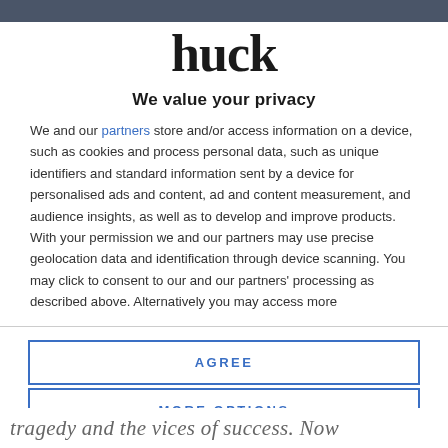[Figure (logo): Huck magazine logo — bold lowercase 'huck' in black serif-style font]
We value your privacy
We and our partners store and/or access information on a device, such as cookies and process personal data, such as unique identifiers and standard information sent by a device for personalised ads and content, ad and content measurement, and audience insights, as well as to develop and improve products. With your permission we and our partners may use precise geolocation data and identification through device scanning. You may click to consent to our and our partners' processing as described above. Alternatively you may access more
AGREE
MORE OPTIONS
tragedy and the vices of success. Now